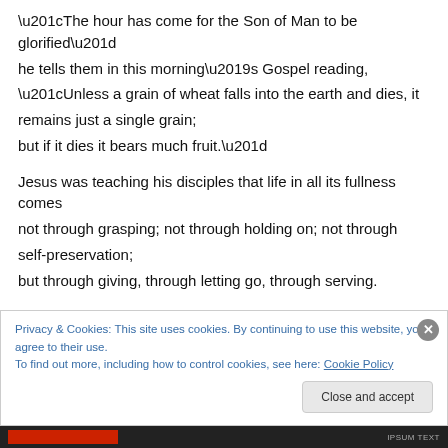“The hour has come for the Son of Man to be glorified” he tells them in this morning’s Gospel reading, “Unless a grain of wheat falls into the earth and dies, it remains just a single grain; but if it dies it bears much fruit.”

Jesus was teaching his disciples that life in all its fullness comes not through grasping; not through holding on; not through self-preservation; but through giving, through letting go, through serving.
Privacy & Cookies: This site uses cookies. By continuing to use this website, you agree to their use. To find out more, including how to control cookies, see here: Cookie Policy